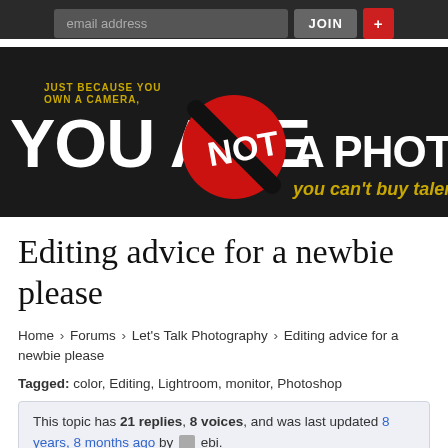[Figure (logo): You Are NOT A Photographer website logo banner with email signup bar. Dark background. Text reads: JUST BECAUSE YOU OWN A CAMERA. YOU ARE NOT A PHOTOGRAPHER you can't buy talent. Red circle with diagonal slash containing 'NOT' text.]
Editing advice for a newbie please
Home › Forums › Let's Talk Photography › Editing advice for a newbie please
Tagged: color, Editing, Lightroom, monitor, Photoshop
This topic has 21 replies, 8 voices, and was last updated 8 years, 8 months ago by ebi.